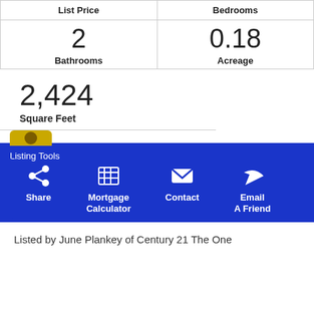| List Price | Bedrooms |
| --- | --- |
| 2 Bathrooms | 0.18 Acreage |
2,424
Square Feet
[Figure (infographic): Listing Tools panel with blue background showing Share, Mortgage Calculator, Contact, and Email A Friend icons]
Listed by June Plankey of Century 21 The One